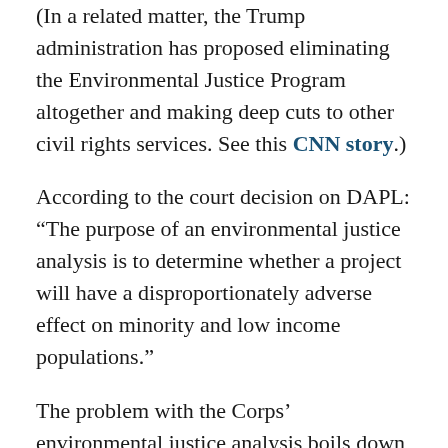(In a related matter, the Trump administration has proposed eliminating the Environmental Justice Program altogether and making deep cuts to other civil rights services. See this CNN story.)
According to the court decision on DAPL: “The purpose of an environmental justice analysis is to determine whether a project will have a disproportionately adverse effect on minority and low income populations.”
The problem with the Corps’ environmental justice analysis boils down to this: It drew such a tiny circle defining the project’s impact area that it excluded the Standing Rock Nation from consideration.